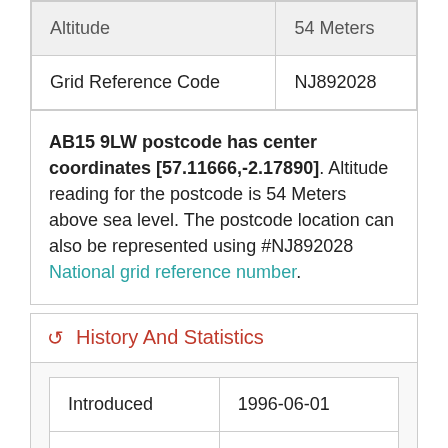| Altitude | 54 Meters |
| --- | --- |
| Grid Reference Code | NJ892028 |
AB15 9LW postcode has center coordinates [57.11666,-2.17890]. Altitude reading for the postcode is 54 Meters above sea level. The postcode location can also be represented using #NJ892028 National grid reference number.
History And Statistics
| Introduced | 1996-06-01 |
| --- | --- |